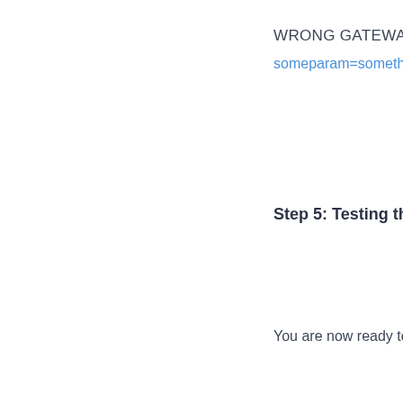WRONG GATEWAY URL
someparam=something
Step 5: Testing the Inte
You are now ready to test y